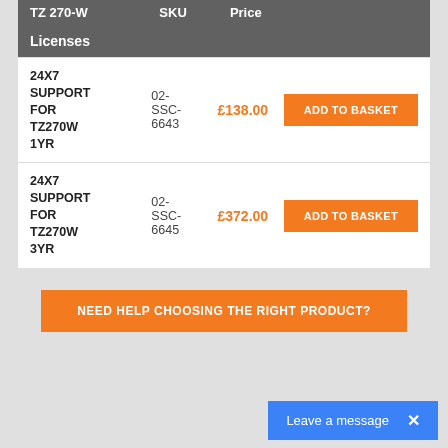| TZ 270-W Licenses | SKU | Price |  |
| --- | --- | --- | --- |
| 24X7 SUPPORT FOR TZ270W 1YR | 02-SSC-6643 | £138.00 | ADD TO BASKET |
| 24X7 SUPPORT FOR TZ270W 3YR | 02-SSC-6645 | £372.00 | ADD TO BASKET |
NEED HELP CHOOSING THE RIGHT PRODUCT?
Leave a message  ×